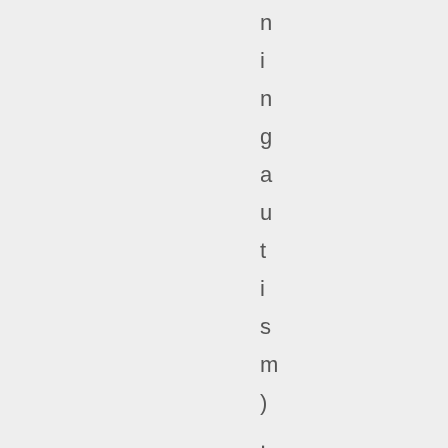n i n g a u t i s m ) . I f o u